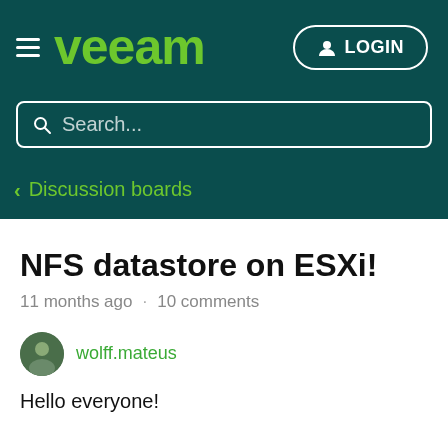Veeam — LOGIN
Search...
< Discussion boards
NFS datastore on ESXi!
11 months ago · 10 comments
wolff.mateus
Hello everyone!